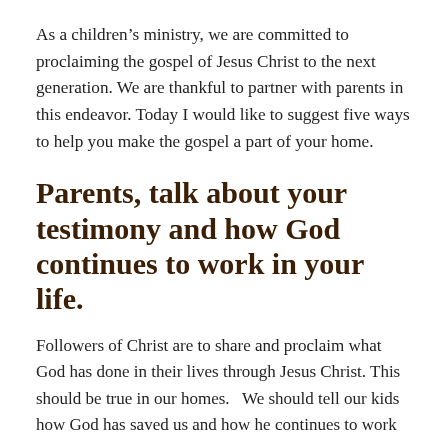As a children's ministry, we are committed to proclaiming the gospel of Jesus Christ to the next generation. We are thankful to partner with parents in this endeavor. Today I would like to suggest five ways to help you make the gospel a part of your home.
Parents, talk about your testimony and how God continues to work in your life.
Followers of Christ are to share and proclaim what God has done in their lives through Jesus Christ. This should be true in our homes.   We should tell our kids how God has saved us and how he continues to work